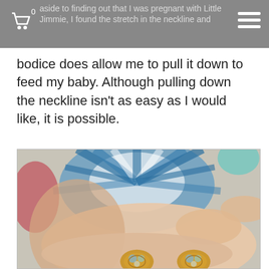…aside to finding out that I was pregnant with Little Jimmie, I found the stretch in the neckline and bodice does allow me to pull it down to feed my baby. Although pulling down the neckline isn't as easy as I would like, it is possible.
bodice does allow me to pull it down to feed my baby. Although pulling down the neckline isn't as easy as I would like, it is possible.
[Figure (photo): A hand holding two ornate gold earrings with iridescent gemstones, with a colorful floral patterned fabric visible in the background.]